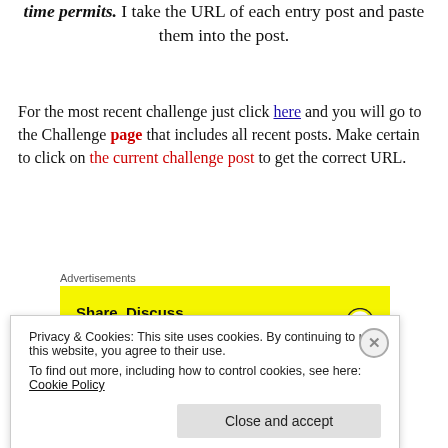time permits. I take the URL of each entry post and paste them into the post.
For the most recent challenge just click here and you will go to the Challenge page that includes all recent posts. Make certain to click on the current challenge post to get the correct URL.
[Figure (screenshot): Yellow advertisement banner: Share, Discuss, Collaborate, P2. Powered by WordPress logo. Above it says 'Advertisements'.]
This would be the WRONG URL:
https://ronovanwrites.wordpress.com/category/h
Privacy & Cookies: This site uses cookies. By continuing to use this website, you agree to their use. To find out more, including how to control cookies, see here: Cookie Policy
Close and accept